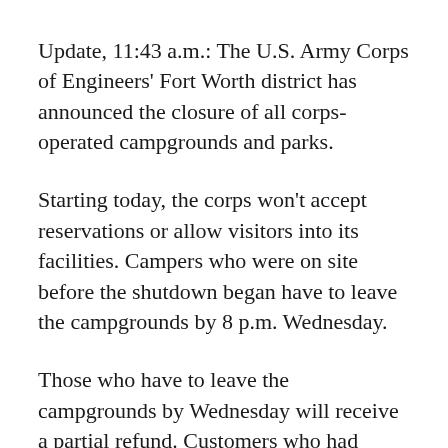Update, 11:43 a.m.: The U.S. Army Corps of Engineers' Fort Worth district has announced the closure of all corps-operated campgrounds and parks.
Starting today, the corps won't accept reservations or allow visitors into its facilities. Campers who were on site before the shutdown began have to leave the campgrounds by 8 p.m. Wednesday.
Those who have to leave the campgrounds by Wednesday will receive a partial refund. Customers who had already